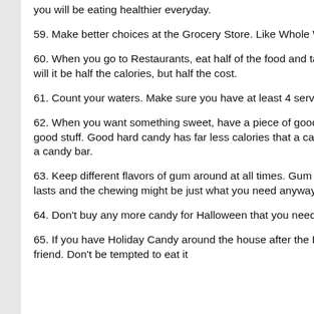you will be eating healthier everyday.
59. Make better choices at the Grocery Store. Like Whole Wheat Noodles, not low cost noodles.
60. When you go to Restaurants, eat half of the food and take half home for the next day. Not only will it be half the calories, but half the cost.
61. Count your waters. Make sure you have at least 4 servings per day....or more.
62. When you want something sweet, have a piece of good hard candy. Spend the money for the good stuff. Good hard candy has far less calories that a candy bar and last much longer than eating a candy bar.
63. Keep different flavors of gum around at all times. Gum not only satisfies your sugar cravings, it lasts and the chewing might be just what you need anyway.
64. Don't buy any more candy for Halloween that you need to give out.
65. If you have Holiday Candy around the house after the Holiday, take it to work or give it to a friend. Don't be tempted to eat it